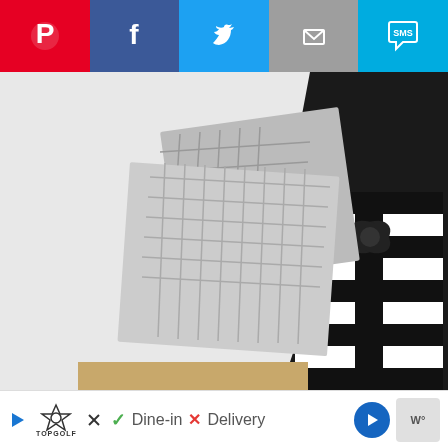[Figure (infographic): Social media share bar with Pinterest (red), Facebook (dark blue), Twitter (light blue), Email (grey), SMS (light blue) buttons]
[Figure (photo): Holiday gift boxes wrapped in black-and-white striped paper and gold polka-dot paper with black satin ribbon bows, against a white brick wall background]
[Figure (infographic): Bottom ad/navigation bar showing Topgolf logo, Dine-in with checkmark, Delivery with X, navigation arrow icon, and weather widget]